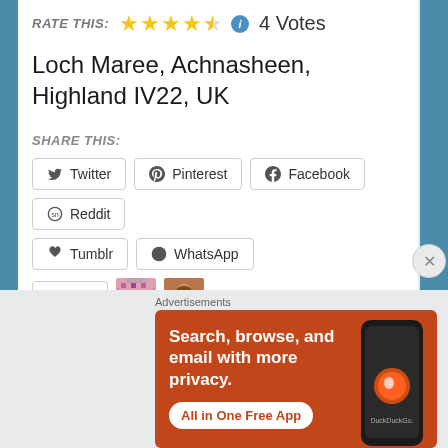RATE THIS: ★★★★½  4 Votes
Loch Maree, Achnasheen, Highland IV22, UK
SHARE THIS:
Twitter
Pinterest
Facebook
Reddit
Tumblr
WhatsApp
Like  2 bloggers like this.
RELATED
two tunes for two
the Laird's lively loins
Advertisements
[Figure (screenshot): DuckDuckGo ad banner: Search, browse, and email with more privacy. All in One Free App]